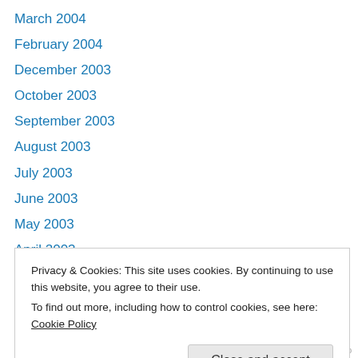March 2004
February 2004
December 2003
October 2003
September 2003
August 2003
July 2003
June 2003
May 2003
April 2003
February 2003
December 2002
November 2002
Privacy & Cookies: This site uses cookies. By continuing to use this website, you agree to their use.
To find out more, including how to control cookies, see here: Cookie Policy
Close and accept